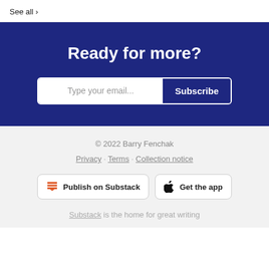See all ›
Ready for more?
Type your email... Subscribe
© 2022 Barry Fenchak
Privacy · Terms · Collection notice
Publish on Substack
Get the app
Substack is the home for great writing